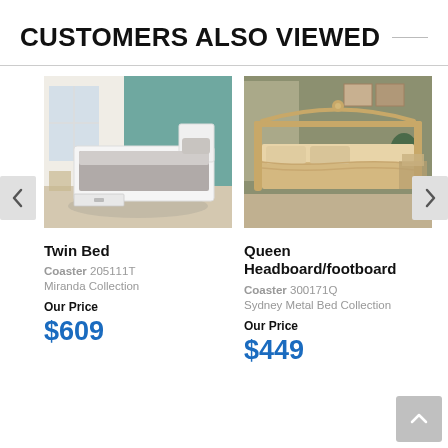CUSTOMERS ALSO VIEWED
[Figure (photo): White wooden twin bed with storage drawer, displayed in a bedroom setting]
Twin Bed
Coaster 205111T
Miranda Collection
Our Price
$609
[Figure (photo): Ornate metal Queen bed with headboard and footboard in an antique gold finish, displayed in a bedroom setting]
Queen Headboard/footboard
Coaster 300171Q
Sydney Metal Bed Collection
Our Price
$449